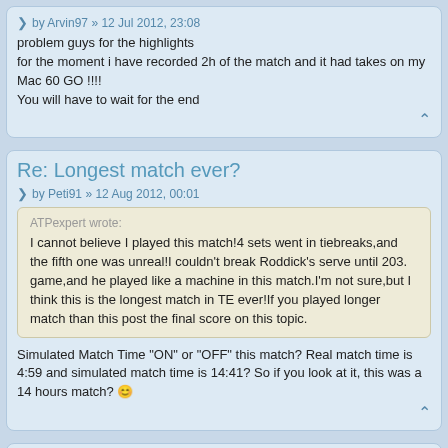by Arvin97 » 12 Jul 2012, 23:08
problem guys for the highlights
for the moment i have recorded 2h of the match and it had takes on my Mac 60 GO !!!!
You will have to wait for the end
Re: Longest match ever?
by Peti91 » 12 Aug 2012, 00:01
ATPexpert wrote:
I cannot believe I played this match!4 sets went in tiebreaks,and the fifth one was unreal!I couldn't break Roddick's serve until 203. game,and he played like a machine in this match.I'm not sure,but I think this is the longest match in TE ever!If you played longer match than this post the final score on this topic.
Simulated Match Time "ON" or "OFF" this match? Real match time is 4:59 and simulated match time is 14:41? So if you look at it, this was a 14 hours match? 🙂
Re: Longest match ever?